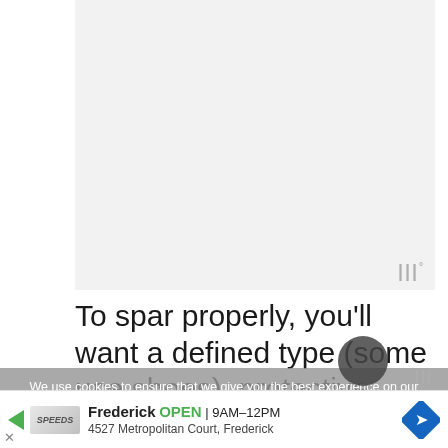[Figure (photo): Blank/white image area placeholder]
To spar properly, you'll want a defined type (some use shoes), protective gloves, helmet, and mouthguard. You then want to both control your
We use cookies to ensure that we give you the best experience on our website. If you continue to use this site we will assume that you are happy with it.
Frederick OPEN | 9AM–12PM
4527 Metropolitan Court, Frederick